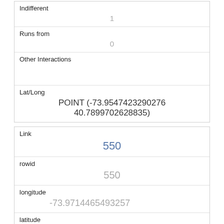| Indifferent | 1 |
| Runs from | 0 |
| Other Interactions |  |
| Lat/Long | POINT (-73.9547423290276 40.7899702628835) |
| Link | 550 |
| rowid | 550 |
| longitude | -73.9714465493257 |
| latitude | 40.7772135587308 |
| Unique Squirrel ID | 14C-PM-1006-02 |
| Hectare | 14C |